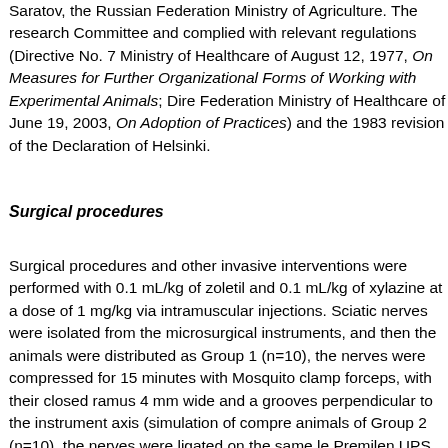Saratov, the Russian Federation Ministry of Agriculture. The research Committee and complied with relevant regulations (Directive No. 7 Ministry of Healthcare of August 12, 1977, On Measures for Further Organizational Forms of Working with Experimental Animals; Directive Federation Ministry of Healthcare of June 19, 2003, On Adoption of Practices) and the 1983 revision of the Declaration of Helsinki.
Surgical procedures
Surgical procedures and other invasive interventions were performed with 0.1 mL/kg of zoletil and 0.1 mL/kg of xylazine at a dose of 1 mg/kg via intramuscular injections. Sciatic nerves were isolated from the microsurgical instruments, and then the animals were distributed as Group 1 (n=10), the nerves were compressed for 15 minutes with Mosquito clamp forceps, with their closed ramus 4 mm wide and a grooves perpendicular to the instrument axis (simulation of compression); animals of Group 2 (n=10), the nerves were ligated on the same level with Premilen UPS 6/0. The applied compression ratio caused no deformation of nerve trunks, and it was left for 30 days. In animals of Group 3 (n=10) and completely transected with a 140 mm long ophthalmic general scissors at middle third of the femur without their further neurorrhaphy. We performed on sciatic nerves of the control animals (n=10) (with no surgical treatment